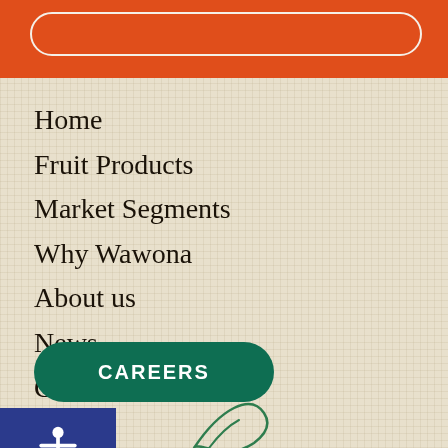Home
Fruit Products
Market Segments
Why Wawona
About us
News
Contact
CAREERS
[Figure (logo): Wawona logo partially visible at bottom center]
[Figure (illustration): Accessibility wheelchair icon in blue square, bottom left]